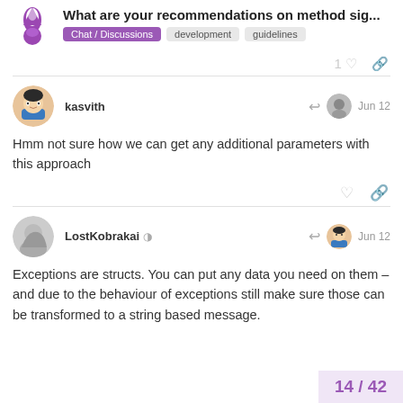What are your recommendations on method sig...
Hmm not sure how we can get any additional parameters with this approach
Exceptions are structs. You can put any data you need on them – and due to the behaviour of exceptions still make sure those can be transformed to a string based message.
14 / 42